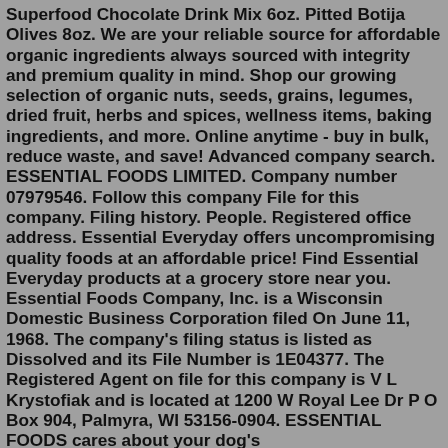Superfood Chocolate Drink Mix 6oz. Pitted Botija Olives 8oz. We are your reliable source for affordable organic ingredients always sourced with integrity and premium quality in mind. Shop our growing selection of organic nuts, seeds, grains, legumes, dried fruit, herbs and spices, wellness items, baking ingredients, and more. Online anytime - buy in bulk, reduce waste, and save! Advanced company search. ESSENTIAL FOODS LIMITED. Company number 07979546. Follow this company File for this company. Filing history. People. Registered office address. Essential Everyday offers uncompromising quality foods at an affordable price! Find Essential Everyday products at a grocery store near you. Essential Foods Company, Inc. is a Wisconsin Domestic Business Corporation filed On June 11, 1968. The company's filing status is listed as Dissolved and its File Number is 1E04377. The Registered Agent on file for this company is V L Krystofiak and is located at 1200 W Royal Lee Dr P O Box 904, Palmyra, WI 53156-0904. ESSENTIAL FOODS cares about your dog's